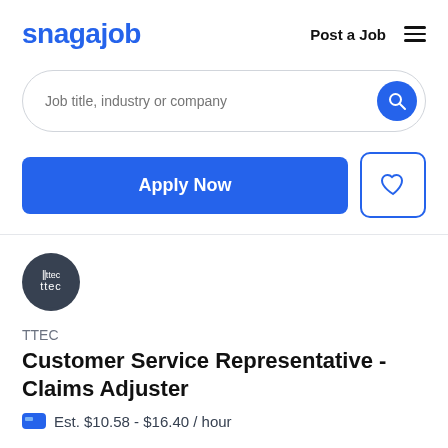snagajob   Post a Job   ≡
Job title, industry or company
Apply Now
[Figure (logo): TTEC company logo — dark gray circle with white 'ttec' text and a small cursor/pointer icon prefix]
TTEC
Customer Service Representative - Claims Adjuster
Est. $10.58 - $16.40 / hour